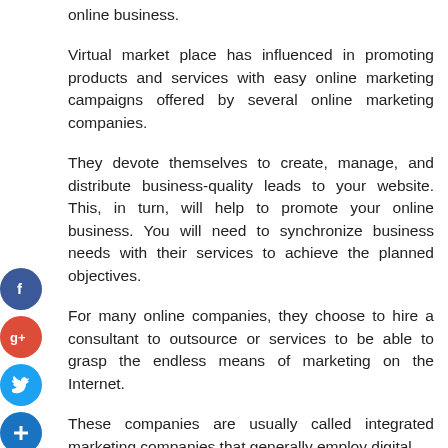online business.
Virtual market place has influenced in promoting products and services with easy online marketing campaigns offered by several online marketing companies.
They devote themselves to create, manage, and distribute business-quality leads to your website. This, in turn, will help to promote your online business. You will need to synchronize business needs with their services to achieve the planned objectives.
For many online companies, they choose to hire a consultant to outsource or services to be able to grasp the endless means of marketing on the Internet.
These companies are usually called integrated marketing companies that generally employ digital